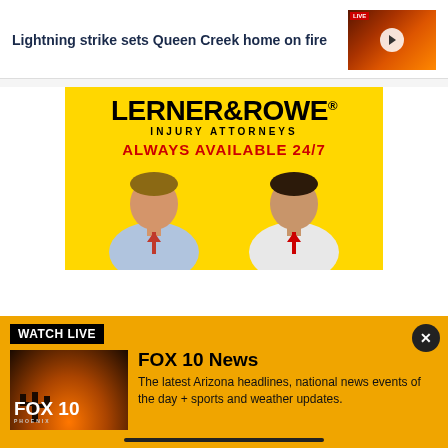Lightning strike sets Queen Creek home on fire
[Figure (screenshot): Video thumbnail showing fire at night with play button overlay]
[Figure (advertisement): Lerner & Rowe Injury Attorneys advertisement on yellow background with two men in suits. Text: LERNER&ROWE INJURY ATTORNEYS ALWAYS AVAILABLE 24/7]
WATCH LIVE
[Figure (screenshot): FOX 10 Phoenix logo over sunset/saguaro background]
FOX 10 News
The latest Arizona headlines, national news events of the day + sports and weather updates.